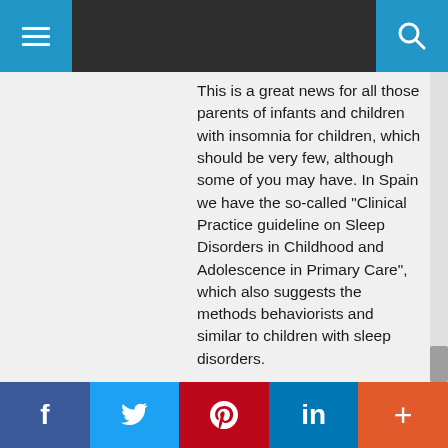[Navigation bar with hamburger menu and search button]
This is a great news for all those parents of infants and children with insomnia for children, which should be very few, although some of you may have. In Spain we have the so-called "Clinical Practice guideline on Sleep Disorders in Childhood and Adolescence in Primary Care", which also suggests the methods behaviorists and similar to children with sleep disorders.
I am glad to know that even though you carry out these methods, these children with problems will have a good relationship with their parents and that they really will sleep better. In fact, it is most likely that in children with sleep disorders, studies show
f  [Twitter]  [Pinterest]  in  +